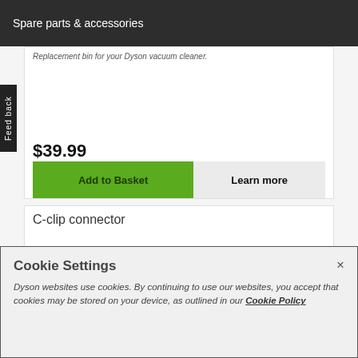Spare parts & accessories
Replacement bin for your Dyson vacuum cleaner.
$39.99
Add to Basket
Learn more
C-clip connector
Cookie Settings
Dyson websites use cookies. By continuing to use our websites, you accept that cookies may be stored on your device, as outlined in our Cookie Policy